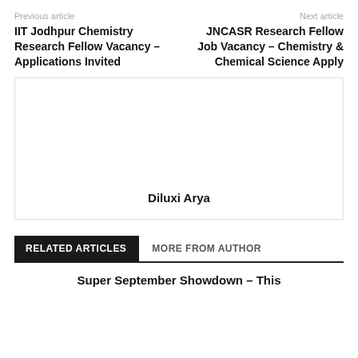Previous article    Next article
IIT Jodhpur Chemistry Research Fellow Vacancy – Applications Invited
JNCASR Research Fellow Job Vacancy – Chemistry & Chemical Science Apply
[Figure (other): Author profile box with name Diluxi Arya]
Diluxi Arya
RELATED ARTICLES    MORE FROM AUTHOR
Super September Showdown – This